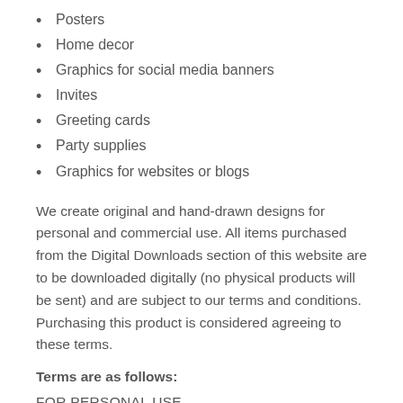Posters
Home decor
Graphics for social media banners
Invites
Greeting cards
Party supplies
Graphics for websites or blogs
We create original and hand-drawn designs for personal and commercial use. All items purchased from the Digital Downloads section of this website are to be downloaded digitally (no physical products will be sent) and are subject to our terms and conditions. Purchasing this product is considered agreeing to these terms.
Terms are as follows:
FOR PERSONAL USE